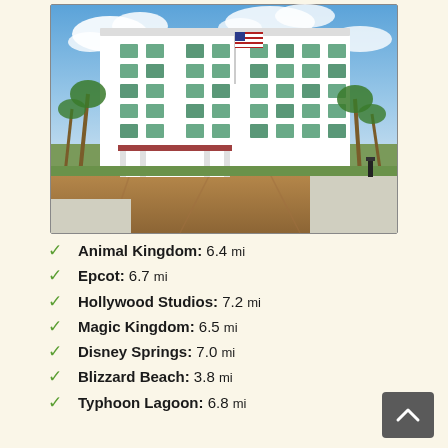[Figure (photo): Exterior photo of a large white multi-story hotel or resort building with a covered entrance/porte-cochere, palm trees, paved driveway, and an American flag. Blue sky with clouds in background.]
Animal Kingdom: 6.4 mi
Epcot: 6.7 mi
Hollywood Studios: 7.2 mi
Magic Kingdom: 6.5 mi
Disney Springs: 7.0 mi
Blizzard Beach: 3.8 mi
Typhoon Lagoon: 6.8 mi